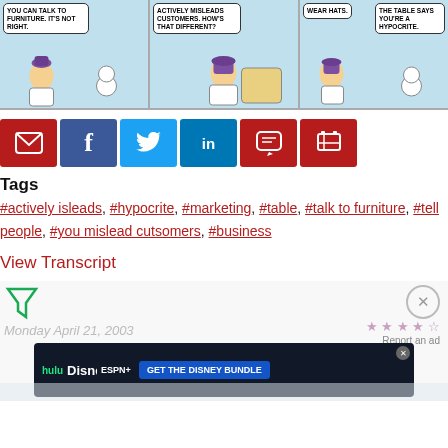[Figure (illustration): Dilbert comic strip showing three panels: characters talking, one wearing a purple pointed hat, with speech bubbles: 'YOU CAN TALK TO FURNITURE. IT'S NOT RIGHT.', 'ACTIVELY MISLEADS CUSTOMERS. HOW'S THAT DIFFERENT?', 'WEAR HATS.' and 'THE TABLE SAYS YOU'RE A HYPOCRITE.']
[Figure (infographic): Social sharing buttons row: email (red), Facebook (dark blue), Twitter (light blue), LinkedIn (medium blue), comment (red), cart/shop (red)]
Tags
#actively isleads, #hypocrite, #marketing, #table, #talk to furniture, #tell people, #you mislead cutsomers, #business
View Transcript
[Figure (infographic): Bottom section with filter icon (green triangle/funnel), close X button, Monday April 21, 2003 label, star rating, Report an ad link, and Disney Bundle advertisement banner]